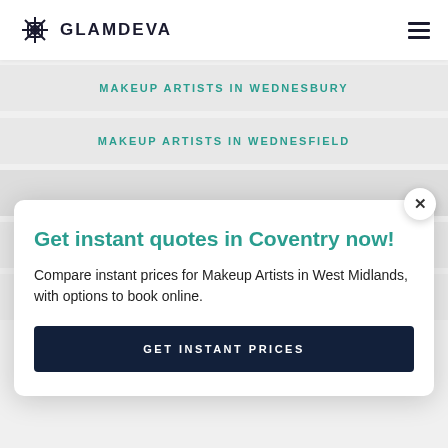GLAMDEVA
MAKEUP ARTISTS IN WEDNESBURY
MAKEUP ARTISTS IN WEDNESFIELD
Get instant quotes in Coventry now!
Compare instant prices for Makeup Artists in West Midlands, with options to book online.
GET INSTANT PRICES